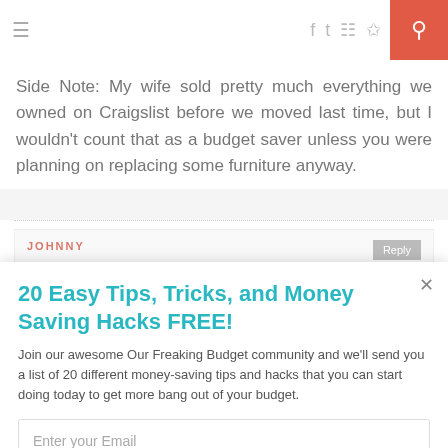≡  f  ʈ  ☷  ⊕  ♥  )))  🔍
Side Note: My wife sold pretty much everything we owned on Craigslist before we moved last time, but I wouldn't count that as a budget saver unless you were planning on replacing some furniture anyway.
JOHNNY  Reply
20 Easy Tips, Tricks, and Money Saving Hacks FREE!
Join our awesome Our Freaking Budget community and we'll send you a list of 20 different money-saving tips and hacks that you can start doing today to get more bang out of your budget.
Enter your Email
Sign Me Up!